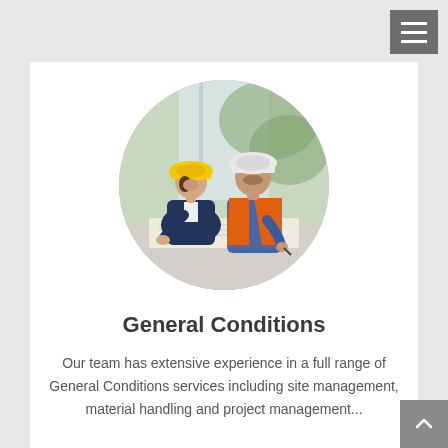[Figure (photo): Circular photo of two construction workers wearing hard hats reviewing plans on a table]
General Conditions
Our team has extensive experience in a full range of General Conditions services including site management, material handling and project management...